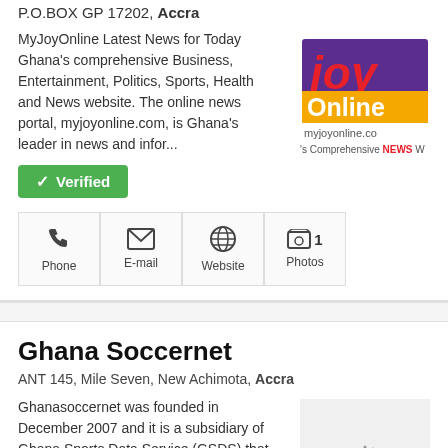P.O.BOX GP 17202, Accra
MyJoyOnline Latest News for Today Ghana's comprehensive Business, Entertainment, Politics, Sports, Health and News website. The online news portal, myjoyonline.com, is Ghana's leader in news and infor...
[Figure (logo): Joy Online logo with red, purple, and yellow text reading 'Joy Online' and 'myjoyonline.co' with tagline 's Comprehensive NEWS W']
✓ Verified
[Figure (infographic): Row of four icon boxes: Phone (phone icon), E-mail (envelope icon), Website (globe icon), Photos (image icon with '1')]
Ghana Soccernet
ANT 145, Mile Seven, New Achimota, Accra
Ghanasoccernet was founded in December 2007 and it is a subsidiary of Ghana Sports Data Service (GSDS) that develops and delivers first rate Africa and Ghana-related sports content from its bases in A...
[Figure (photo): Loading spinner image placeholder with grey background]
✓ Verified
[Figure (infographic): Row of icon boxes partially visible at bottom: Phone, E-mail, Website, Photos with '1']